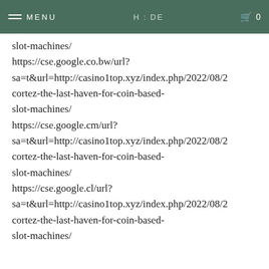MENU | H:DE | 0
slot-machines/
https://cse.google.co.bw/url?
sa=t&url=http://casino1top.xyz/index.php/2022/08/
cortez-the-last-haven-for-coin-based-
slot-machines/
https://cse.google.cm/url?
sa=t&url=http://casino1top.xyz/index.php/2022/08/
cortez-the-last-haven-for-coin-based-
slot-machines/
https://cse.google.cl/url?
sa=t&url=http://casino1top.xyz/index.php/2022/08/
cortez-the-last-haven-for-coin-based-
slot-machines/